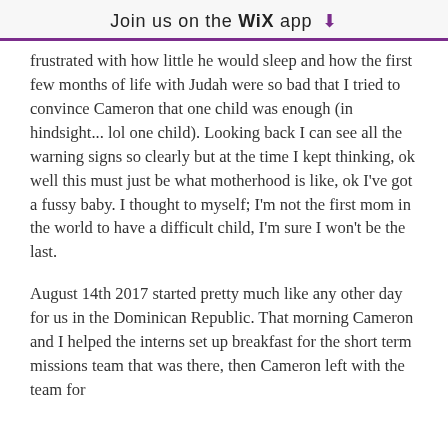Join us on the WiX app
frustrated with how little he would sleep and how the first few months of life with Judah were so bad that I tried to convince Cameron that one child was enough (in hindsight... lol one child). Looking back I can see all the warning signs so clearly but at the time I kept thinking, ok well this must just be what motherhood is like, ok I've got a fussy baby. I thought to myself; I'm not the first mom in the world to have a difficult child, I'm sure I won't be the last.
August 14th 2017 started pretty much like any other day for us in the Dominican Republic. That morning Cameron and I helped the interns set up breakfast for the short term missions team that was there, then Cameron left with the team for